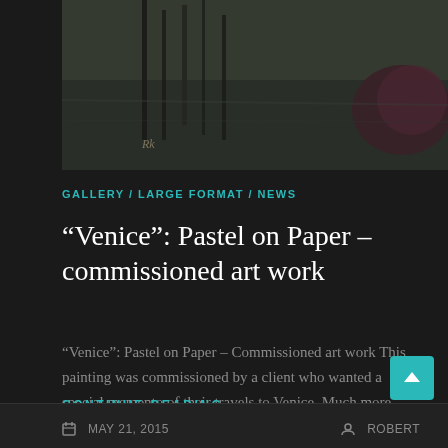[Figure (photo): Partial view of a pastel artwork depicting Venice scene with dark tones, gondola poles and boats visible]
GALLERY / LARGE FORMAT / NEWS
“Venice”: Pastel on Paper – commissioned art work
“Venice”: Pastel on Paper – Commissioned art work This painting was commissioned by a client who wanted a special memento of their travels to Venice. Much more intimate than a
CONTINUE READING
MAY 21, 2015   ROBERT